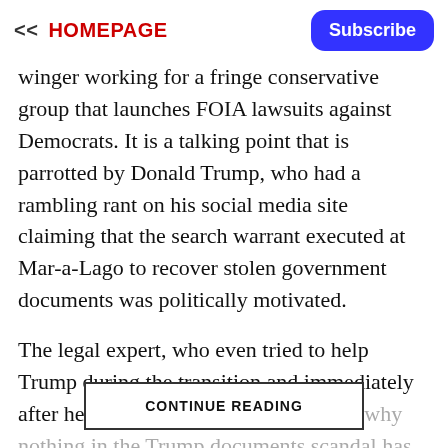<< HOMEPAGE
winger working for a fringe conservative group that launches FOIA lawsuits against Democrats. It is a talking point that is parrotted by Donald Trump, who had a rambling rant on his social media site claiming that the search warrant executed at Mar-a-Lago to recover stolen government documents was politically motivated.
The legal expert, who even tried to help Trump during the transition and immediately after he was elected, explained in a list why nothing in the Trump documents scandal has to do with the election.
CONTINUE READING